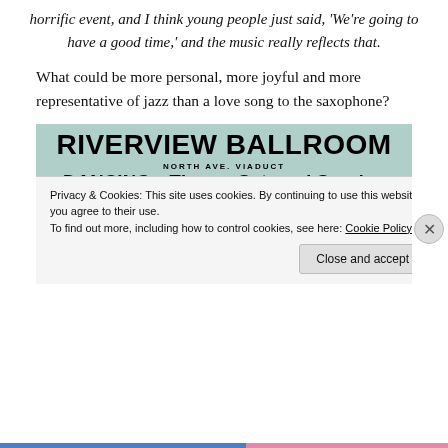horrific event, and I think young people just said, 'We're going to have a good time,' and the music really reflects that.
What could be more personal, more joyful and more representative of jazz than a love song to the saxophone?
[Figure (photo): Advertisement for Riverview Ballroom on a light teal background. Text reads: RIVERVIEW BALLROOM, NORTH AVE. VIADUCT, DANCING--Thurs., Sat. and Sunday Eve., Featuring HUSK O'HARE AND HIS SUPER-ORCHESTRA, DOUBLE ORCHESTRA TONIGHT. Overlaid with a cookie consent banner: Privacy & Cookies: This site uses cookies. By continuing to use this website, you agree to their use. To find out more, including how to control cookies, see here: Cookie Policy. Close and accept button at bottom right.]